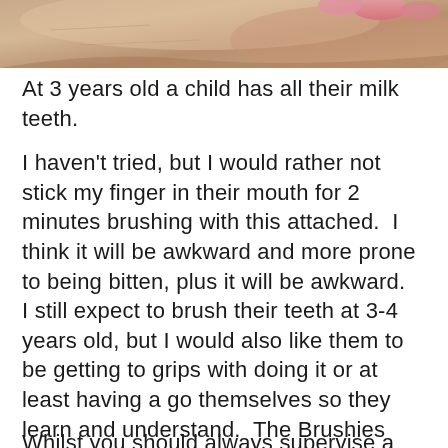[Figure (photo): Close-up photo of a hand/finger near a child's mouth area, showing skin tones with pink fingernails visible at the top of the image.]
At 3 years old a child has all their milk teeth.
I haven't tried, but I would rather not stick my finger in their mouth for 2 minutes brushing with this attached.  I think it will be awkward and more prone to being bitten, plus it will be awkward.
I still expect to brush their teeth at 3-4 years old, but I would also like them to be getting to grips with doing it or at least having a go themselves so they learn and understand.  The Brushies does not allow this.
Whilst you should always supervise a child...